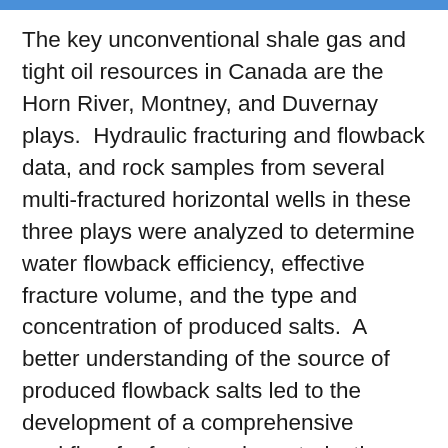The key unconventional shale gas and tight oil resources in Canada are the Horn River, Montney, and Duvernay plays.  Hydraulic fracturing and flowback data, and rock samples from several multi-fractured horizontal wells in these three plays were analyzed to determine water flowback efficiency, effective fracture volume, and the type and concentration of produced salts.  A better understanding of the source of produced flowback salts led to the development of a comprehensive workflow for fracture characterization through